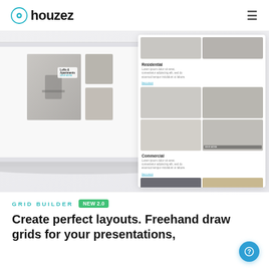houzez
[Figure (screenshot): Screenshot of Houzez real estate website UI showing a grid layout with residential and commercial property images, displayed on a laptop mockup]
GRID BUILDER   NEW 2.0
Create perfect layouts. Freehand draw grids for your presentations,